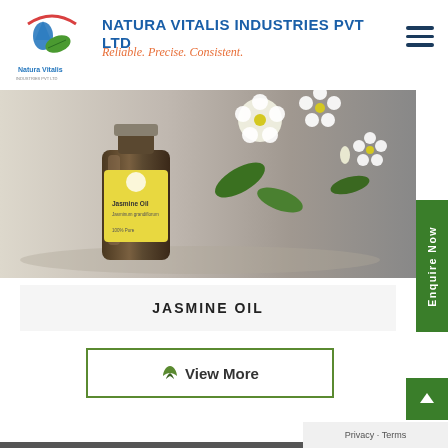[Figure (logo): Natura Vitalis Industries logo with blue drop, green leaf, and red arc]
NATURA VITALIS INDUSTRIES PVT LTD
Reliable. Precise. Consistent.
[Figure (photo): Product photo of Jasmine Oil bottle with jasmine flowers in background]
JASMINE OIL
View More
Enquire Now
Privacy · Terms